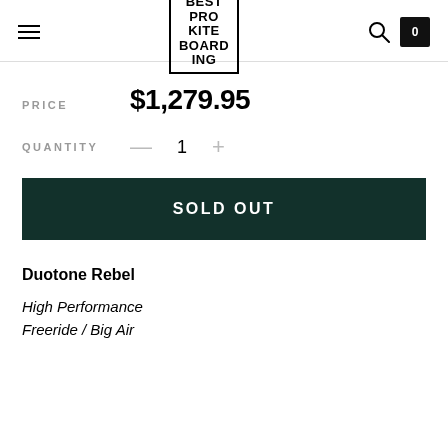BEST PRO KITE BOARDING
PRICE $1,279.95
QUANTITY — 1 +
SOLD OUT
Duotone Rebel
High Performance
Freeride / Big Air